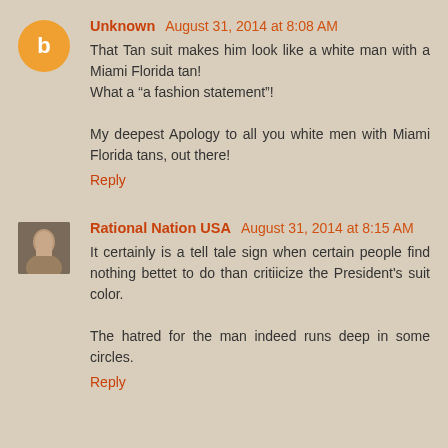Unknown August 31, 2014 at 8:08 AM
That Tan suit makes him look like a white man with a Miami Florida tan!
What a “a fashion statement”!

My deepest Apology to all you white men with Miami Florida tans, out there!
Reply
Rational Nation USA August 31, 2014 at 8:15 AM
It certainly is a tell tale sign when certain people find nothing bettet to do than critiicize the President's suit color.

The hatred for the man indeed runs deep in some circles.
Reply